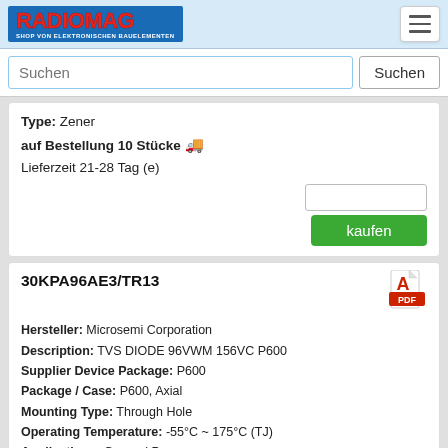RADIOMAG - SHOP VON ELEKTRONISCHEN BAUELEMENTEN
Type: Zener
auf Bestellung 10 Stücke 🚚
Lieferzeit 21-28 Tag (e)
kaufen
30KPA96AE3/TR13
Hersteller: Microsemi Corporation
Description: TVS DIODE 96VWM 156VC P600
Supplier Device Package: P600
Package / Case: P600, Axial
Mounting Type: Through Hole
Operating Temperature: -55°C ~ 175°C (TJ)
Applications: General Purpose
Power Line Protection: No
Power - Peak Pulse: 30000W (30kW)
Current - Peak Pulse (10/1000µs): 194.2A
Voltage - Clamping (Max) @ Ipp: 156V
Voltage - Breakdown (Min): 107.2V
Voltage - Reverse Standoff (Typ): 96V
Bidirectional Channels: 1